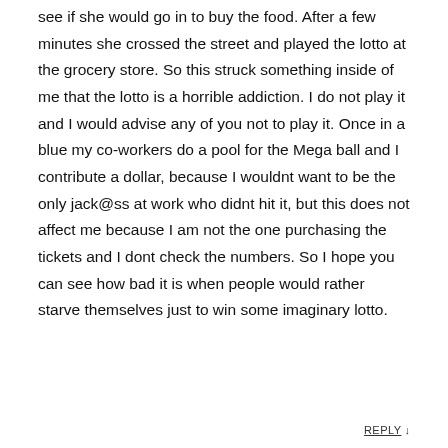see if she would go in to buy the food. After a few minutes she crossed the street and played the lotto at the grocery store. So this struck something inside of me that the lotto is a horrible addiction. I do not play it and I would advise any of you not to play it. Once in a blue my co-workers do a pool for the Mega ball and I contribute a dollar, because I wouldnt want to be the only jack@ss at work who didnt hit it, but this does not affect me because I am not the one purchasing the tickets and I dont check the numbers. So I hope you can see how bad it is when people would rather starve themselves just to win some imaginary lotto.
REPLY ↓